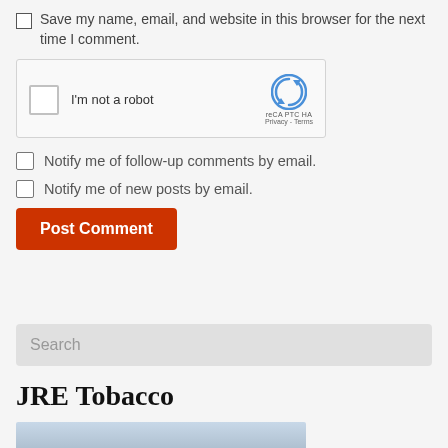Save my name, email, and website in this browser for the next time I comment.
[Figure (screenshot): reCAPTCHA widget with checkbox labeled 'I'm not a robot' and reCAPTCHA logo with Privacy and Terms links]
Notify me of follow-up comments by email.
Notify me of new posts by email.
Post Comment
Search
JRE Tobacco
[Figure (photo): Partial photo with grey/blue tones at bottom of page]